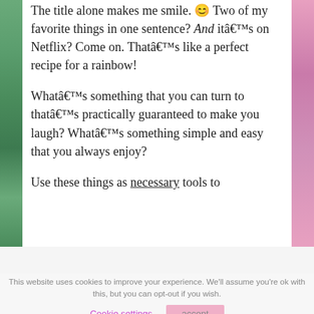The title alone makes me smile. 😊 Two of my favorite things in one sentence? And itâ€™s on Netflix? Come on. Thatâ€™s like a perfect recipe for a rainbow!
Whatâ€™s something that you can turn to thatâ€™s practically guaranteed to make you laugh? Whatâ€™s something simple and easy that you always enjoy?
Use these things as necessary tools to
cookie policy
This website uses cookies to improve your experience. We'll assume you're ok with this, but you can opt-out if you wish.
Cookie settings | accept